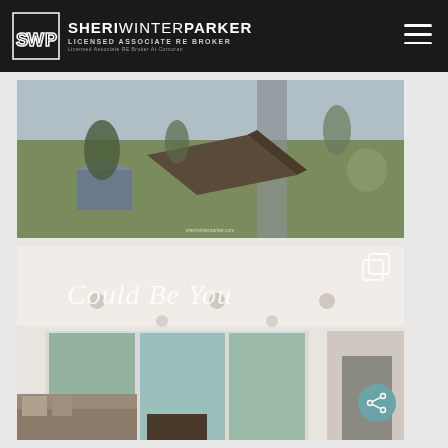SHERI WINTER PARKER — LICENSED ASSOCIATE RE BROKER — Licensed Associate RE Broker At Corcoran
[Figure (photo): Aerial drone photo of a residential property with multiple structures, surrounded by bare trees, a road, and natural landscape]
[Figure (photo): Interior photo of a bright living room with large sliding glass doors looking out onto a waterfront view, with a sofa, coffee table and fireplace visible, overlaid with cursive text 'Could Be You']